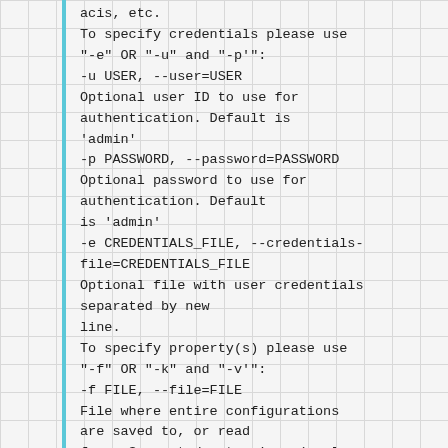acis, etc.
To specify credentials please use "-e" OR "-u" and "-p'":
-u USER, --user=USER
Optional user ID to use for authentication. Default is 'admin'
-p PASSWORD, --password=PASSWORD
Optional password to use for authentication. Default is 'admin'
-e CREDENTIALS_FILE, --credentials-file=CREDENTIALS_FILE
Optional file with user credentials separated by new line.
To specify property(s) please use "-f" OR "-k" and "-v'":
-f FILE, --file=FILE
File where entire configurations are saved to, or read from. Supported extensions (.xml,